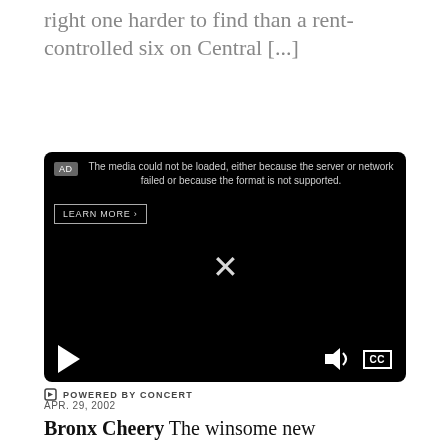right one harder to find than a rent-controlled six on Central [...]
[Figure (screenshot): Black video player with AD badge, media error message 'The media could not be loaded, either because the server or network failed or because the format is not supported.', LEARN MORE button, large X close icon, play button, volume icon, and CC button at bottom.]
⏎ POWERED BY CONCERT
APR. 29, 2002
Bronx Cheery The winsome new